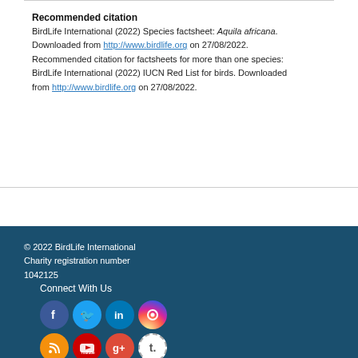Recommended citation
BirdLife International (2022) Species factsheet: Aquila africana. Downloaded from http://www.birdlife.org on 27/08/2022. Recommended citation for factsheets for more than one species: BirdLife International (2022) IUCN Red List for birds. Downloaded from http://www.birdlife.org on 27/08/2022.
© 2022 BirdLife International Charity registration number 1042125
© 2011-2022 QPQ Software Ltd.